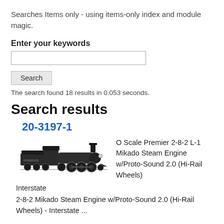Searches Items only - using items-only index and module magic.
Enter your keywords
Search
The search found 18 results in 0.053 seconds.
Search results
20-3197-1
[Figure (photo): A black steam locomotive model (O Scale) shown from the side.]
O Scale Premier 2-8-2 L-1 Mikado Steam Engine w/Proto-Sound 2.0 (Hi-Rail Wheels)
Interstate
2-8-2 Mikado Steam Engine w/Proto-Sound 2.0 (Hi-Rail Wheels) - Interstate ...